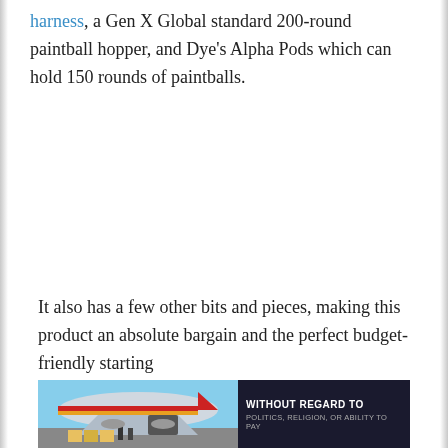harness, a Gen X Global standard 200-round paintball hopper, and Dye's Alpha Pods which can hold 150 rounds of paintballs.
It also has a few other bits and pieces, making this product an absolute bargain and the perfect budget-friendly starting
[Figure (photo): Advertisement banner showing an airplane being loaded with cargo on the left side, and a dark box on the right with text 'WITHOUT REGARD TO' in white capital letters and smaller text below.]